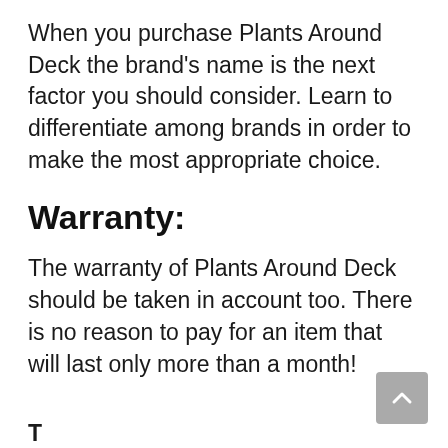When you purchase Plants Around Deck the brand's name is the next factor you should consider. Learn to differentiate among brands in order to make the most appropriate choice.
Warranty:
The warranty of Plants Around Deck should be taken in account too. There is no reason to pay for an item that will last only more than a month!